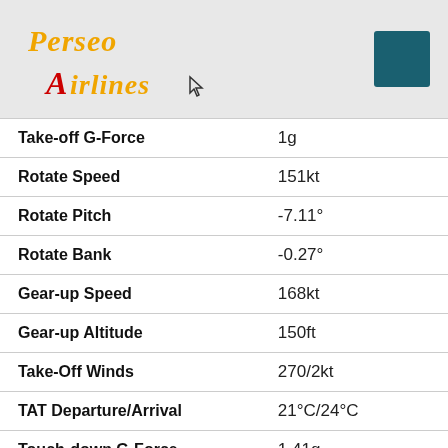[Figure (logo): Perseo Airlines logo with yellow italic 'Perseo' text and red/yellow 'Airlines' text on grey header background, with a teal square navigation button on the right]
| Parameter | Value |
| --- | --- |
| Take-off G-Force | 1g |
| Rotate Speed | 151kt |
| Rotate Pitch | -7.11° |
| Rotate Bank | -0.27° |
| Gear-up Speed | 168kt |
| Gear-up Altitude | 150ft |
| Take-Off Winds | 270/2kt |
| TAT Departure/Arrival | 21°C/24°C |
| Touch-down G-Force | 1.41g |
| Touch-down Speed | 151kt |
| Touch-down Pitch | -5.15° |